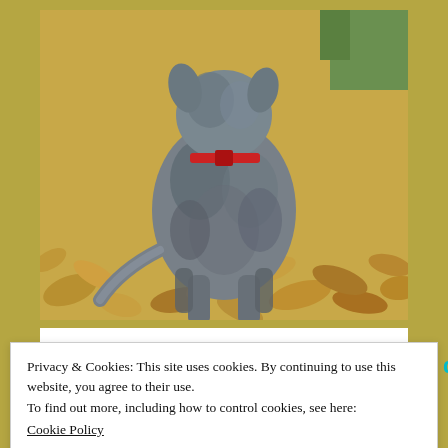[Figure (photo): A gray/blue heeler dog standing on fallen autumn leaves, wearing a red collar, photographed from behind/side angle outdoors]
[Figure (logo): NaPoWriMo.net logo with a crescent moon icon and the text '30 poems in 30 days' in teal/cyan color on white background]
Privacy & Cookies: This site uses cookies. By continuing to use this website, you agree to their use.
To find out more, including how to control cookies, see here:
Cookie Policy